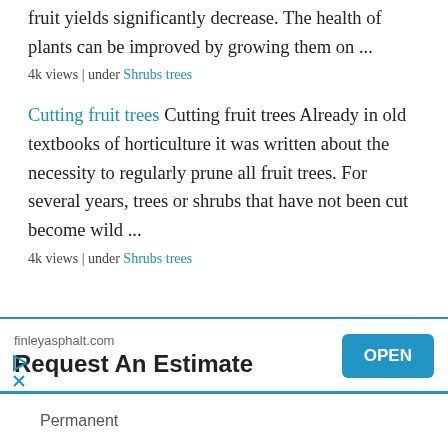fruit yields significantly decrease. The health of plants can be improved by growing them on ...
4k views | under Shrubs trees
Cutting fruit trees Cutting fruit trees Already in old textbooks of horticulture it was written about the necessity to regularly prune all fruit trees. For several years, trees or shrubs that have not been cut become wild ...
4k views | under Shrubs trees
[Figure (screenshot): Advertisement banner for finleyasphalt.com with 'Request An Estimate' text and an OPEN button]
Permanent